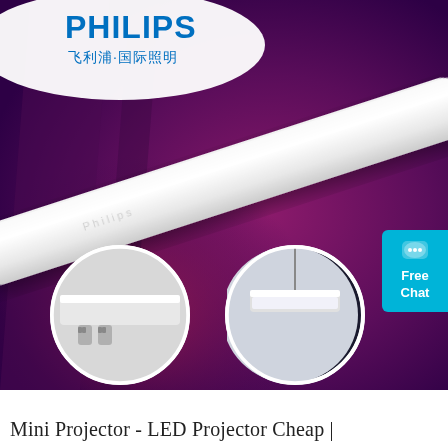[Figure (photo): Philips LED projector/batten light product photo on purple/magenta background. The Philips logo and Chinese text '飞利浦·国际照明' appear top-left. A long white LED tube light is shown diagonally. Two circular inset photos below show close-up detail views of the fixture ends and a suspended installation. A 'Free Chat' badge in cyan is on the right side.]
Mini Projector - LED Projector Cheap |